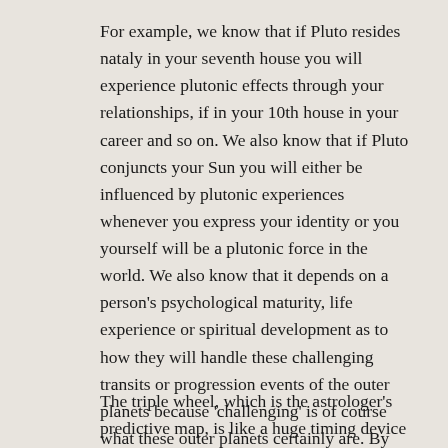For example, we know that if Pluto resides nataly in your seventh house you will experience plutonic effects through your relationships, if in your 10th house in your career and so on. We also know that if Pluto conjuncts your Sun you will either be influenced by plutonic experiences whenever you express your identity or you yourself will be a plutonic force in the world. We also know that it depends on a person's psychological maturity, life experience or spiritual development as to how they will handle these challenging transits or progression events of the outer planets because 'challenging' is of course what these outer planets certainly are. By hard aspects I mean squares, oppositions and conjunctions (also inconjuncts and a lesser degree semisquare and sesiquadrates).
The triple wheel, which is the astrologer's predictive map, is like a huge timing device or clock. The central